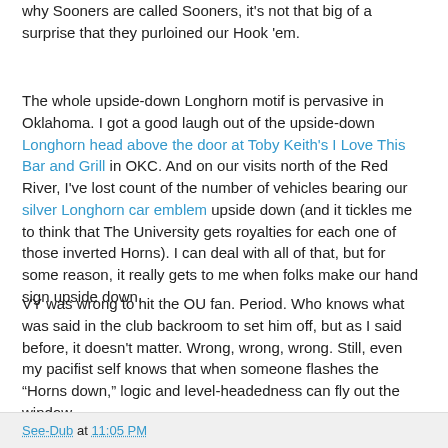why Sooners are called Sooners, it's not that big of a surprise that they purloined our Hook 'em.
The whole upside-down Longhorn motif is pervasive in Oklahoma. I got a good laugh out of the upside-down Longhorn head above the door at Toby Keith's I Love This Bar and Grill in OKC. And on our visits north of the Red River, I've lost count of the number of vehicles bearing our silver Longhorn car emblem upside down (and it tickles me to think that The University gets royalties for each one of those inverted Horns). I can deal with all of that, but for some reason, it really gets to me when folks make our hand sign upside down.
VY was wrong to hit the OU fan. Period. Who knows what was said in the club backroom to set him off, but as I said before, it doesn't matter. Wrong, wrong, wrong. Still, even my pacifist self knows that when someone flashes the "Horns down," logic and level-headedness can fly out the window.
See-Dub at 11:05 PM